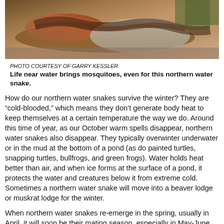[Figure (photo): Close-up photo of a northern water snake, showing its patterned scales with red/orange and brown tones, resting outdoors.]
PHOTO COURTESY OF GARRY KESSLER
Life near water brings mosquitoes, even for this northern water snake.
How do our northern water snakes survive the winter? They are “cold-blooded,” which means they don’t generate body heat to keep themselves at a certain temperature the way we do. Around this time of year, as our October warm spells disappear, northern water snakes also disappear. They typically overwinter underwater or in the mud at the bottom of a pond (as do painted turtles, snapping turtles, bullfrogs, and green frogs). Water holds heat better than air, and when ice forms at the surface of a pond, it protects the water and creatures below it from extreme cold. Sometimes a northern water snake will move into a beaver lodge or muskrat lodge for the winter.
When northern water snakes re-emerge in the spring, usually in April, it will soon be their mating season, especially in May-June. More than one male may try to court and mate with a female at the same time. You might see smaller males rubbing against or coiling around a larger female, either on land or in the water.
Like some other snakes, water snakes give birth to live